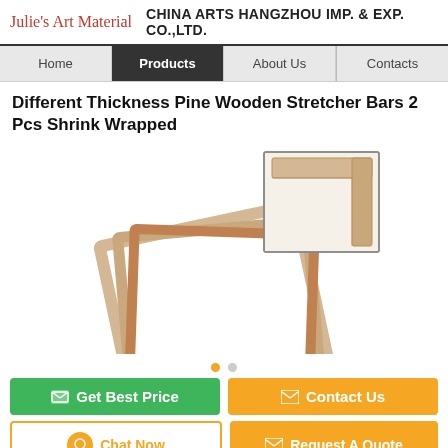Julie's Art Material   CHINA ARTS HANGZHOU IMP. & EXP. CO.,LTD.
Home | Products | About Us | Contacts
Different Thickness Pine Wooden Stretcher Bars 2 Pcs Shrink Wrapped
[Figure (photo): Product photo of multiple pine wooden stretcher bar frames stacked at an angle, with a close-up inset image showing the corner detail of a stretcher bar.]
Get Best Price   Contact Us
Chat Now   Request A Quote